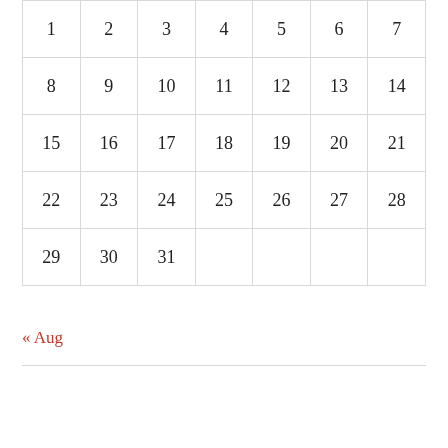| 1 | 2 | 3 | 4 | 5 | 6 | 7 |
| 8 | 9 | 10 | 11 | 12 | 13 | 14 |
| 15 | 16 | 17 | 18 | 19 | 20 | 21 |
| 22 | 23 | 24 | 25 | 26 | 27 | 28 |
| 29 | 30 | 31 |  |  |  |  |
« Aug